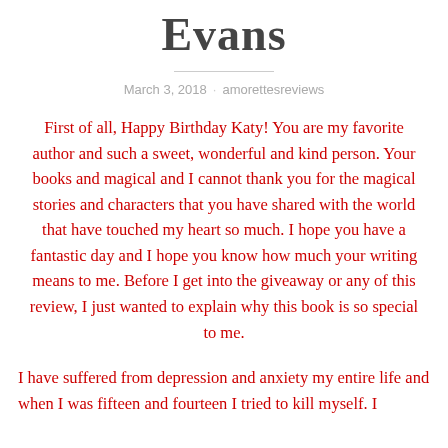Evans
March 3, 2018 · amorettesreviews
First of all, Happy Birthday Katy! You are my favorite author and such a sweet, wonderful and kind person. Your books and magical and I cannot thank you for the magical stories and characters that you have shared with the world that have touched my heart so much. I hope you have a fantastic day and I hope you know how much your writing means to me. Before I get into the giveaway or any of this review, I just wanted to explain why this book is so special to me.
I have suffered from depression and anxiety my entire life and when I was fifteen and fourteen I tried to kill myself. I